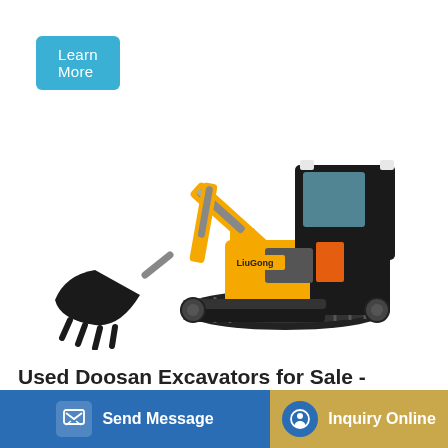Learn More
[Figure (photo): Yellow and black LiuGong mini excavator with cab, arm, bucket, and blade on tracks, shown on white background]
Used Doosan Excavators for Sale - Mascus Singapore
Send Message
Inquiry Online